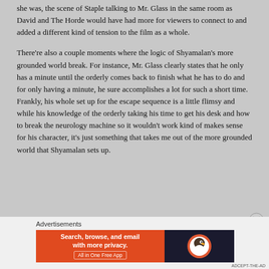she was, the scene of Staple talking to Mr. Glass in the same room as David and The Horde would have had more for viewers to connect to and added a different kind of tension to the film as a whole.
There're also a couple moments where the logic of Shyamalan's more grounded world break. For instance, Mr. Glass clearly states that he only has a minute until the orderly comes back to finish what he has to do and for only having a minute, he sure accomplishes a lot for such a short time. Frankly, his whole set up for the escape sequence is a little flimsy and while his knowledge of the orderly taking his time to get his desk and how to break the neurology machine so it wouldn't work kind of makes sense for his character, it's just something that takes me out of the more grounded world that Shyamalan sets up.
Advertisements
[Figure (screenshot): DuckDuckGo advertisement banner: 'Search, browse, and email with more privacy. All in One Free App' with DuckDuckGo logo on dark background.]
ADCEPT-THE-AD